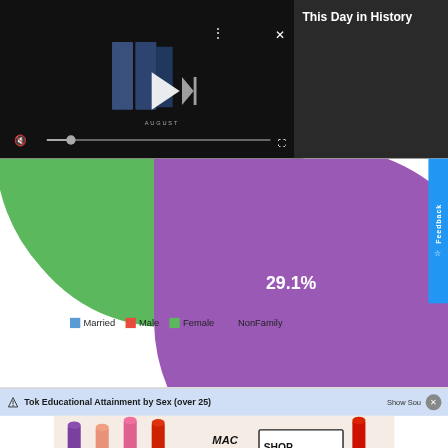[Figure (screenshot): Video player showing 'This Day in History' with play controls, mute button, progress bar, and fullscreen icon on dark background]
This Day in History
[Figure (pie-chart): Partial pie chart visible showing green and purple slices; purple slice labeled 29.1%]
Tok Educational Attainment by Sex (over 25)
[Figure (photo): MAC cosmetics advertisement showing lipsticks with SHOP NOW button]